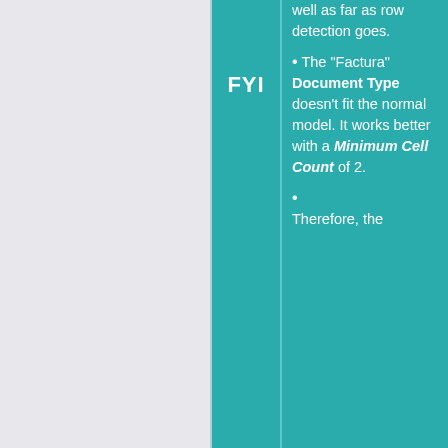well as far as row detection goes.
The "Factura" Document Type doesn't fit the normal model. It works better with a Minimum Cell Count of 2.
Therefore, the